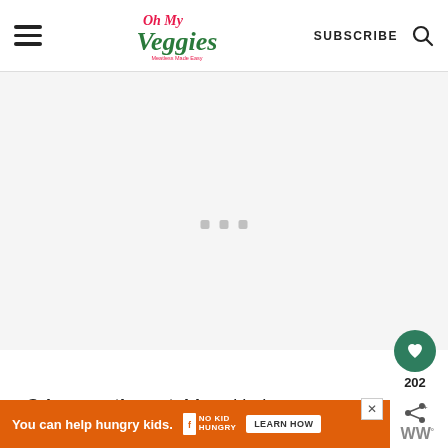Oh My Veggies — Meatless Made Easy | SUBSCRIBE
[Figure (screenshot): Loading/placeholder area with three small grey dots centered in a light grey rectangle]
[Figure (infographic): Green circular save/heart button with count 202 and share button]
Crispy on the outside, with the most
[Figure (screenshot): Orange advertisement banner: 'You can help hungry kids.' with No Kid Hungry logo and LEARN HOW button]